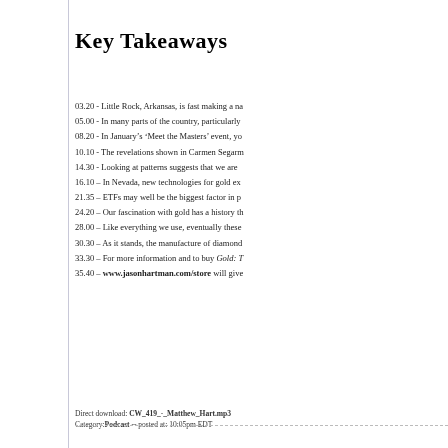Key Takeaways
03.20 - Little Rock, Arkansas, is fast making a na
05.00 - In many parts of the country, particularly
08.20 - In January's ‘Meet the Masters’ event, yo
10.10 - The revelations shown in Carmen Segarm
14.30 - Looking at patterns suggests that we are
16.10 – In Nevada, new technologies for gold ex
21.35 – ETFs may well be the biggest factor in p
24.20 – Our fascination with gold has a history th
28.00 – Like everything we use, eventually these
30.30 – As it stands, the manufacture of diamond
33.30 – For more information and to buy Gold: T
35.40 – www.jasonhartman.com/store will give
Direct download: CW_419_-_Matthew_Hart.mp3
Category:Podcast -- posted at: 10:05pm EDT